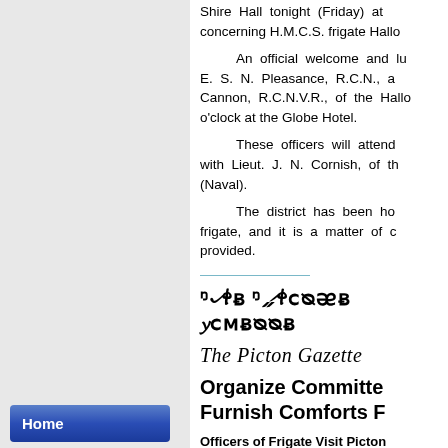Shire Hall tonight (Friday) at ... concerning H.M.C.S. frigate Hallo...
An official welcome and lu... E. S. N. Pleasance, R.C.N., a... Cannon, R.C.N.V.R., of the Hallo... o'clock at the Globe Hotel.
These officers will attend... with Lieut. J. N. Cornish, of th... (Naval).
The district has been ho... frigate, and it is a matter of c... provided.
[Figure (other): Horizontal teal divider line]
The Picton Gazette
Organize Committe... Furnish Comforts F...
Officers of Frigate Visit Picton... County People to Assist in Pro...
Home
Online Catalogue
Ships database
Research
Collections
Bibliography
Books for sale